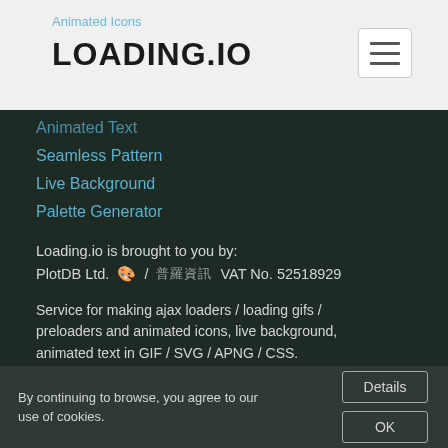Animated Icons
LOADING.IO
Animated Text
Seamless Pattern
Live Background
Palette Generator
Loading.io is brought to you by: PlotDB Ltd. 🎨 / 普羅資訊 VAT No. 52518929
Service for making ajax loaders / loading gifs / preloaders and animated icons, live background, animated text in GIF / SVG / APNG / CSS.
✉ Customer Service: contact@loading.io
By continuing to browse, you agree to our use of cookies.